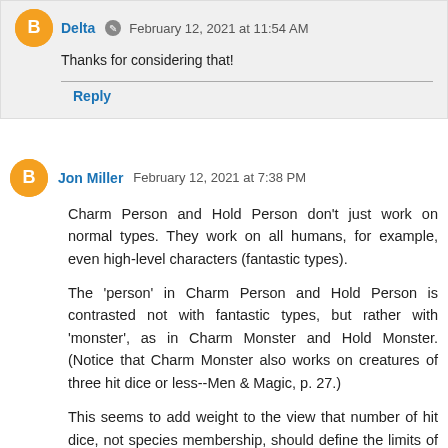Delta · February 12, 2021 at 11:54 AM
Thanks for considering that!
Reply
Jon Miller  February 12, 2021 at 7:38 PM
Charm Person and Hold Person don't just work on normal types. They work on all humans, for example, even high-level characters (fantastic types).
The 'person' in Charm Person and Hold Person is contrasted not with fantastic types, but rather with 'monster', as in Charm Monster and Hold Monster. (Notice that Charm Monster also works on creatures of three hit dice or less--Men & Magic, p. 27.)
This seems to add weight to the view that number of hit dice, not species membership, should define the limits of the fighter's cleave ability.